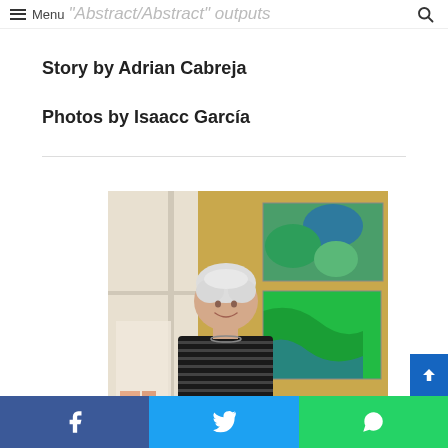Menu "Abstract/Abstract" outputs
Story by Adrian Cabreja
Photos by Isaacc García
[Figure (photo): A woman with white/gray hair, smiling, wearing a striped shirt and necklace, standing in front of a yellow wall with two colorful abstract paintings featuring green and blue organic shapes.]